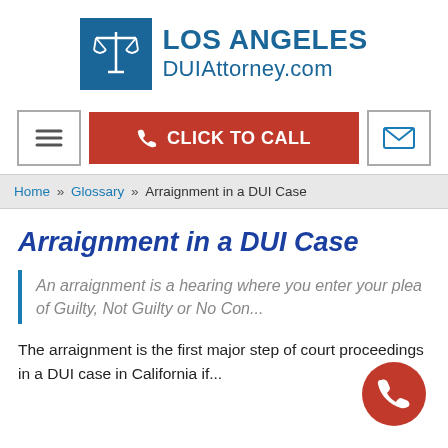[Figure (logo): Los Angeles DUI Attorney logo with scales of justice icon in blue square]
[Figure (screenshot): Navigation bar with hamburger menu, red CLICK TO CALL button with phone icon, and email envelope icon]
Home » Glossary » Arraignment in a DUI Case
Arraignment in a DUI Case
An arraignment is a hearing where you enter your plea of Guilty, Not Guilty or No Con...
The arraignment is the first major step of court proceedings in a DUI case in California if...